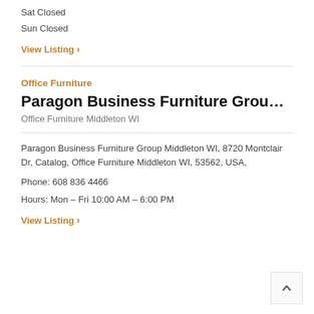Sat Closed
Sun Closed
View Listing >
Office Furniture
Paragon Business Furniture Group Middlet…
Office Furniture Middleton WI
Paragon Business Furniture Group Middleton WI, 8720 Montclair Dr, Catalog, Office Furniture Middleton WI, 53562, USA,
Phone: 608 836 4466
Hours: Mon – Fri 10:00 AM – 6:00 PM
View Listing >